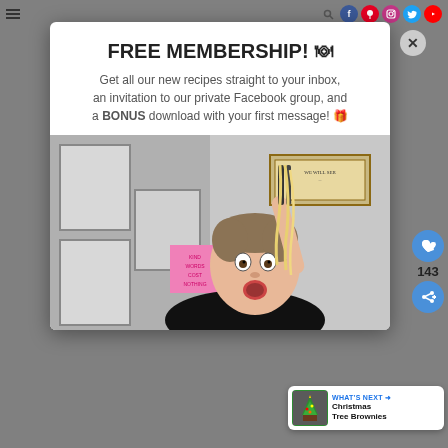Navigation bar with hamburger menu and social icons (search, Facebook, Pinterest, Instagram, Twitter, YouTube)
FREE MEMBERSHIP! 🍽
Get all our new recipes straight to your inbox, an invitation to our private Facebook group, and a BONUS download with your first message! 🎁
[Figure (photo): Woman holding up noodles with tongs, looking surprised, in a kitchen with a pink sticky note visible saying KIND WORDS COST NOTHING and a framed sign in the background]
143
WHAT'S NEXT ➜ Christmas Tree Brownies